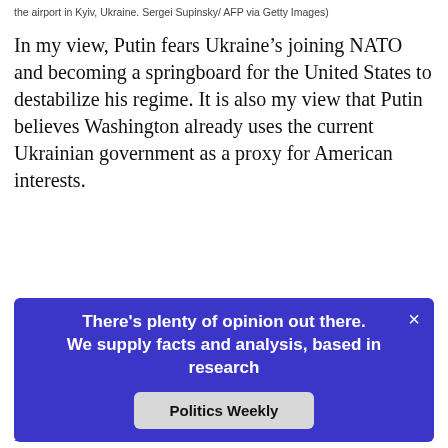the airport in Kyiv, Ukraine. Sergei Supinsky/ AFP via Getty Images)
In my view, Putin fears Ukraine’s joining NATO and becoming a springboard for the United States to destabilize his regime. It is also my view that Putin believes Washington already uses the current Ukrainian government as a proxy for American interests.
The Russians annexed Crimea in March 2014
[Figure (screenshot): A modal popup overlay with dark blue/indigo background containing the text 'There's plenty of opinion out there. We supply facts and analysis, based in research' in bold white, a close (x) button in top right, and a 'Politics Weekly' button in light gray below the text.]
Putin’s fears are not without basis. The momentum